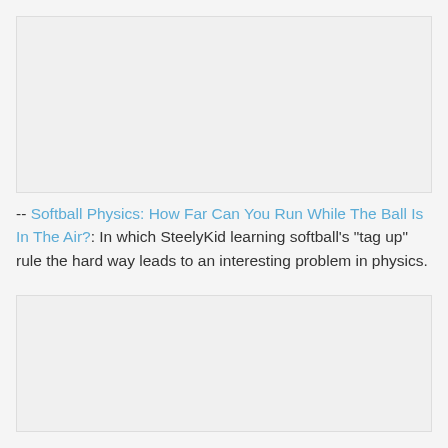[Figure (photo): Top image placeholder block]
-- Softball Physics: How Far Can You Run While The Ball Is In The Air?: In which SteelyKid learning softball's "tag up" rule the hard way leads to an interesting problem in physics.
[Figure (photo): Bottom image placeholder block]